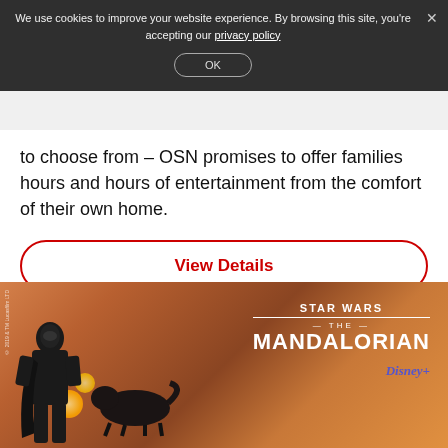We use cookies to improve your website experience. By browsing this site, you're accepting our privacy policy
OK
to choose from – OSN promises to offer families hours and hours of entertainment from the comfort of their own home.
View Details
[Figure (photo): Promotional image for Star Wars: The Mandalorian on Disney+. Shows a silhouetted armored figure (the Mandalorian) walking against a sunset/desert backdrop with a creature alongside. Text overlay reads 'STAR WARS THE MANDALORIAN' and Disney+ logo.]